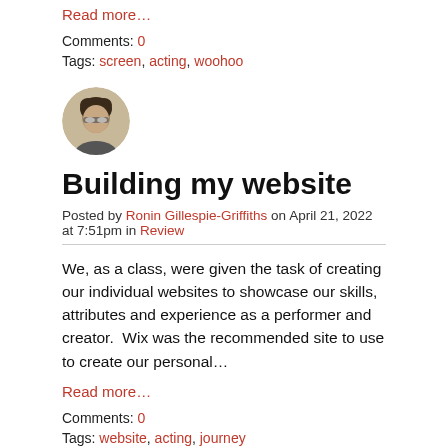Read more…
Comments: 0
Tags: screen, acting, woohoo
[Figure (photo): Circular avatar photo of Ronin Gillespie-Griffiths, a person with dark curly hair and glasses]
Building my website
Posted by Ronin Gillespie-Griffiths on April 21, 2022 at 7:51pm in Review
We, as a class, were given the task of creating our individual websites to showcase our skills, attributes and experience as a performer and creator.  Wix was the recommended site to use to create our personal…
Read more…
Comments: 0
Tags: website, acting, journey